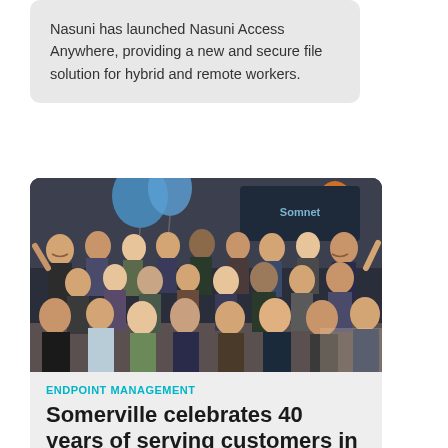Nasuni has launched Nasuni Access Anywhere, providing a new and secure file solution for hybrid and remote workers.
[Figure (photo): Group photo of Somerville employees celebrating 40 years, posing together in an office with balloons and company signage in the background.]
ENDPOINT MANAGEMENT
Somerville celebrates 40 years of serving customers in Australia